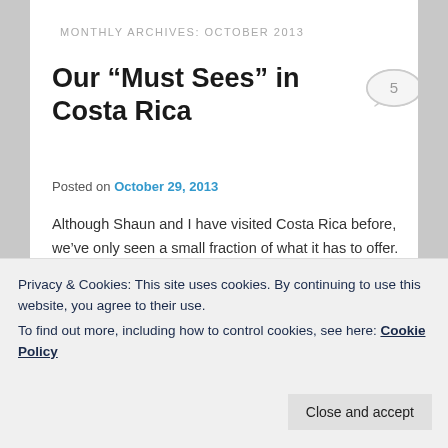MONTHLY ARCHIVES: OCTOBER 2013
Our “Must Sees” in Costa Rica
Posted on October 29, 2013
Although Shaun and I have visited Costa Rica before, we’ve only seen a small fraction of what it has to offer. Our previous vacations were short, sweet, and full of beer. That didn’t leave a whole lot of time for sightseeing. With five months ahead of us, there will be plenty of time to see
Privacy & Cookies: This site uses cookies. By continuing to use this website, you agree to their use.
To find out more, including how to control cookies, see here: Cookie Policy